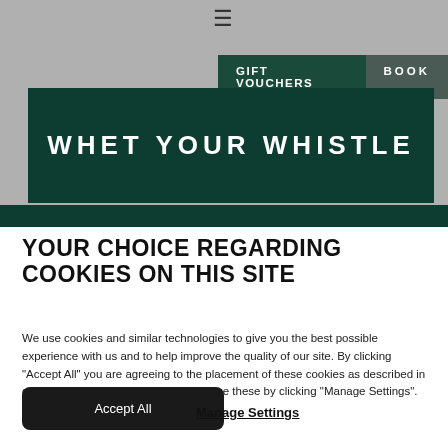≡
GIFT VOUCHERS   BOOK
WHET YOUR WHISTLE
YOUR CHOICE REGARDING COOKIES ON THIS SITE
We use cookies and similar technologies to give you the best possible experience with us and to help improve the quality of our site. By clicking "Accept All" you are agreeing to the placement of these cookies as described in our Cookies Policy or you can customize these by clicking "Manage Settings".
Accept All
Manage Settings